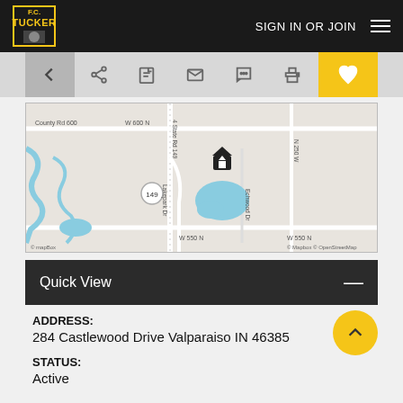F.C. Tucker — SIGN IN OR JOIN
[Figure (screenshot): Navigation toolbar with back arrow, share, edit, email, chat, print icons and yellow heart/favorite button]
[Figure (map): MapBox street map showing area near Castlewood Drive, Valparaiso IN. Labels visible: County Rd 600, W 600 N, 4 State Rd 149, Lakepark Dr, N 250 W, W 550 N, Echwood Dr. A house icon marker is visible near a lake.]
Quick View
ADDRESS:
284 Castlewood Drive Valparaiso IN 46385
STATUS:
Active